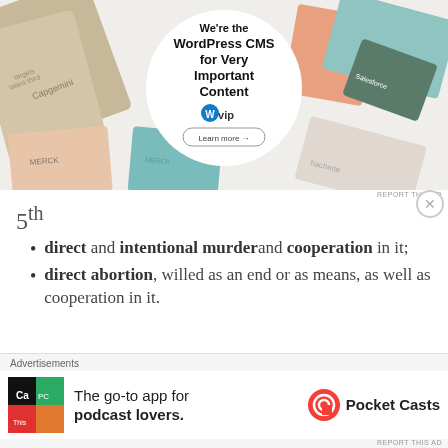[Figure (screenshot): WordPress VIP advertisement banner showing colorful brand logo tiles in the background and a circular white card in the center with text: We're the WordPress CMS for Very Important Content, with the WordPress VIP logo and a Learn more button.]
5th
direct and intentional murder and cooperation in it;
direct abortion, willed as an end or as means, as well as cooperation in it.
[Figure (screenshot): Bottom advertisement bar for Pocket Casts: The go-to app for podcast lovers. Shows the Pocket Casts logo and app icon.]